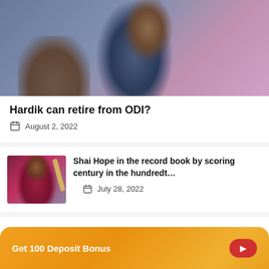[Figure (photo): Close-up photo of Indian cricket player Hardik Pandya in blue jersey with tattoo visible on arm, blurred pink/purple background]
Hardik can retire from ODI?
August 2, 2022
[Figure (photo): Thumbnail photo of West Indies cricket player Shai Hope raising bat in maroon jersey]
Shai Hope in the record book by scoring century in the hundredt…
July 28, 2022
cricket news live
Get 100 Deposit Bonus